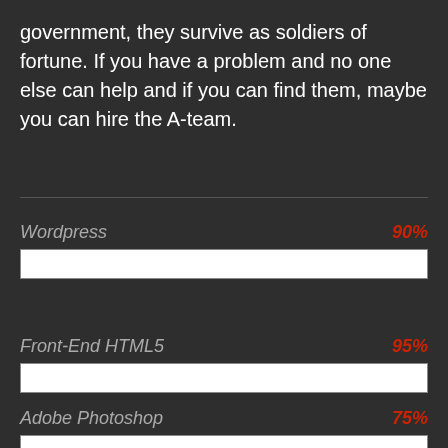government, they survive as soldiers of fortune. If you have a problem and no one else can help and if you can find them, maybe you can hire the A-team.
[Figure (bar-chart): Skills]